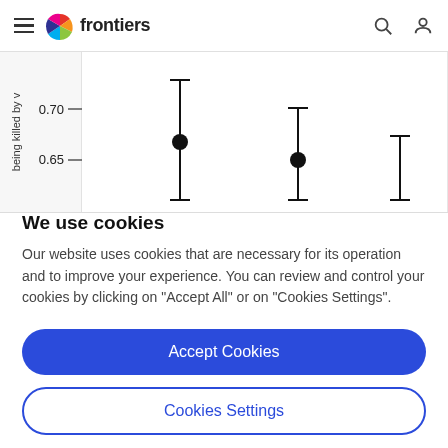frontiers
[Figure (continuous-plot): Partial forest/dot-and-whisker plot showing error bars and filled circle data points. Y-axis labels show 0.65 and 0.70. X-axis label text reads 'being killed by v' (partially visible rotated text). Three data points visible with confidence interval bars.]
We use cookies
Our website uses cookies that are necessary for its operation and to improve your experience. You can review and control your cookies by clicking on "Accept All" or on "Cookies Settings".
Accept Cookies
Cookies Settings